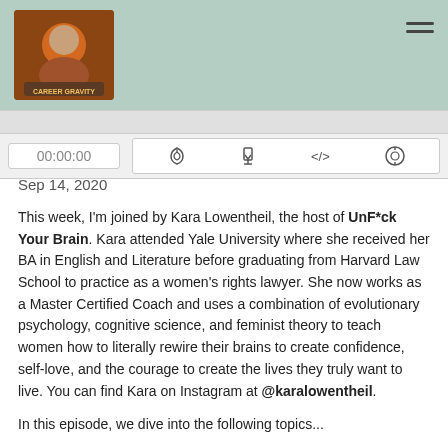[Figure (logo): Podcast logo image with illustrated character on brown/orange background]
[Figure (other): Hamburger menu icon (three horizontal lines) in top right corner]
[Figure (other): Podcast player bar with time display 00:00:00 and control icons: RSS feed, download, embed code, and settings/ring icon]
Sep 14, 2020
This week, I'm joined by Kara Lowentheil, the host of UnF*ck Your Brain. Kara attended Yale University where she received her BA in English and Literature before graduating from Harvard Law School to practice as a women's rights lawyer. She now works as a Master Certified Coach and uses a combination of evolutionary psychology, cognitive science, and feminist theory to teach women how to literally rewire their brains to create confidence, self-love, and the courage to create the lives they truly want to live. You can find Kara on Instagram at @karalowentheil.
In this episode, we dive into the following topics...
- Kara's career path from prestigious lawyer to life coach
- Navigating the discomfort that comes with taking a risk
- Reworking the sexist messages projected on us by society
- Imposter syndrome in thew workplace